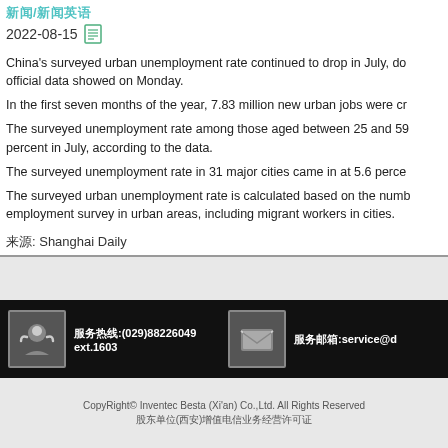新闻/新闻英语
2022-08-15
China's surveyed urban unemployment rate continued to drop in July, do official data showed on Monday.
In the first seven months of the year, 7.83 million new urban jobs were cr
The surveyed unemployment rate among those aged between 25 and 59 percent in July, according to the data.
The surveyed unemployment rate in 31 major cities came in at 5.6 perce
The surveyed urban unemployment rate is calculated based on the numb employment survey in urban areas, including migrant workers in cities.
来源: Shanghai Daily
服务热线:(029)88226049 ext.1603   服务邮箱:service@d
CopyRight© Inventec Besta (Xi'an) Co.,Ltd. All Rights Reserved 股东单位(西安)增值电信业务经营许可证